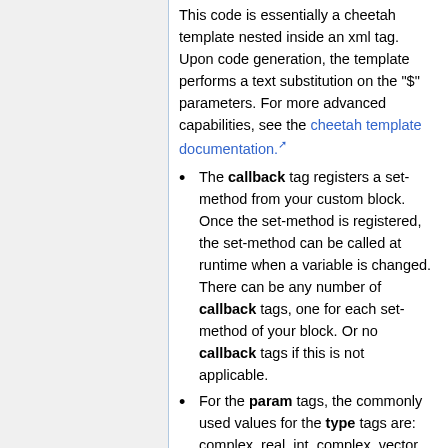This code is essentially a cheetah template nested inside an xml tag. Upon code generation, the template performs a text substitution on the "$" parameters. For more advanced capabilities, see the cheetah template documentation.
The callback tag registers a set-method from your custom block. Once the set-method is registered, the set-method can be called at runtime when a variable is changed. There can be any number of callback tags, one for each set-method of your block. Or no callback tags if this is not applicable.
For the param tags, the commonly used values for the type tags are: complex, real, int, complex_vector, real_vector, int_vector, string, and